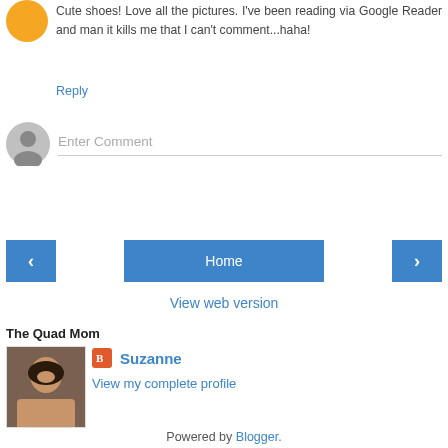Cute shoes! Love all the pictures. I've been reading via Google Reader and man it kills me that I can't comment...haha!
Reply
Enter Comment
‹
Home
›
View web version
The Quad Mom
Suzanne
View my complete profile
Powered by Blogger.